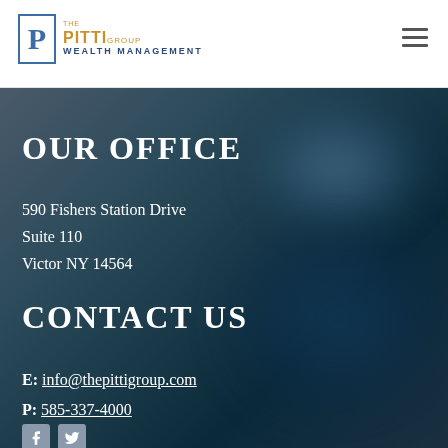[Figure (logo): The Pitti Group Wealth Management logo with blue P in a box and orange/gold text]
OUR OFFICE
590 Fishers Station Drive
Suite 110
Victor NY 14564
CONTACT US
E: info@thepittigroup.com
P: 585-337-4000